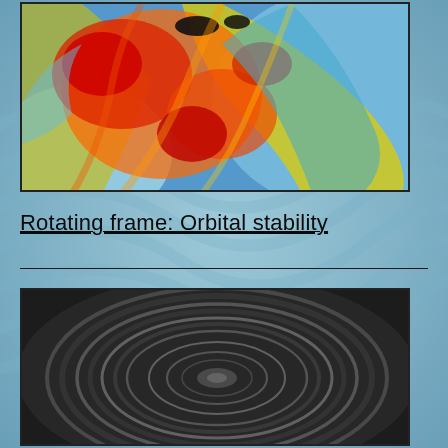[Figure (continuous-plot): False-color visualization of gravitational wave or fluid simulation in a rotating frame, showing spiraling wave patterns in red, orange, yellow, green, and blue (thermal/rainbow colormap). Two dark objects visible near center-top suggesting binary system.]
Rotating frame: Orbital stability
[Figure (continuous-plot): Grayscale visualization of orbital stability in a rotating frame, showing concentric ring-like interference patterns against a dark background, suggesting a gravitational or wave-field simulation.]